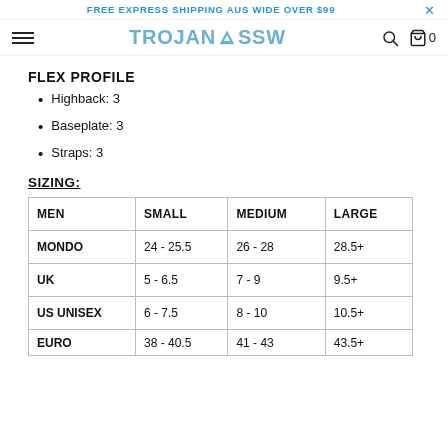FREE EXPRESS SHIPPING AUS WIDE OVER $99
[Figure (logo): TROJANSSW logo with mountain icon]
FLEX PROFILE
Highback: 3
Baseplate: 3
Straps: 3
SIZING:
| MEN | SMALL | MEDIUM | LARGE |
| --- | --- | --- | --- |
| MONDO | 24 - 25.5 | 26 - 28 | 28.5+ |
| UK | 5 - 6.5 | 7 - 9 | 9.5+ |
| US UNISEX | 6 - 7.5 | 8 - 10 | 10.5+ |
| EURO | 38 - 40.5 | 41 - 43 | 43.5+ |